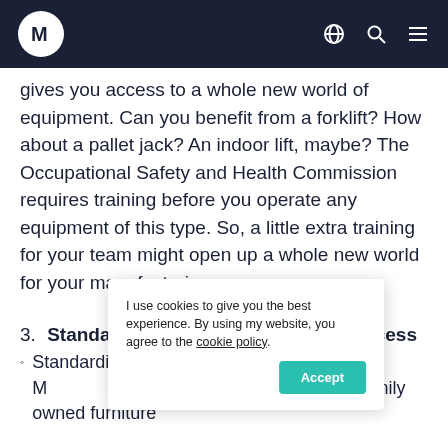Navigation bar with logo and icons
gives you access to a whole new world of equipment. Can you benefit from a forklift? How about a pallet jack? An indoor lift, maybe? The Occupational Safety and Health Commission requires training before you operate any equipment of this type. So, a little extra training for your team might open up a whole new world for your manufacturing process.
3. Standardize Your Manufacturing Process
Standardizing your manufacturing process brings M[...]ed a third-generation family owned furniture